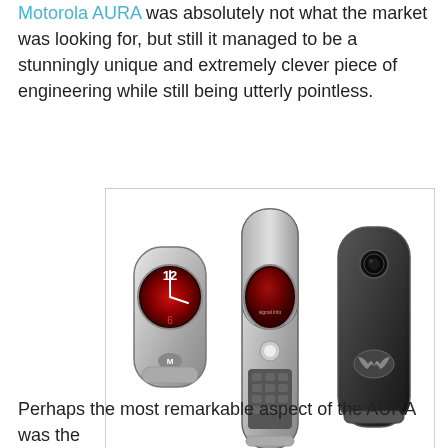Motorola AURA was absolutely not what the market was looking for, but still it managed to be a stunningly unique and extremely clever piece of engineering while still being utterly pointless.
[Figure (photo): Three views of the Motorola AURA flip phone — open showing clock face, open from front showing red oval display and keypad, and closed back view showing Motorola logo]
Motorola AURA
Perhaps the most remarkable aspect of the AURA was the